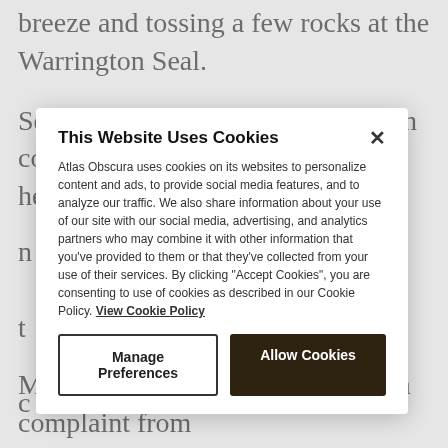breeze and tossing a few rocks at the Warrington Seal.
Seals are common along the British coast, and occasionally, one makes her way upstream into the
Monday. The outlet also surfaced a complaint from
This Website Uses Cookies
Atlas Obscura uses cookies on its websites to personalize content and ads, to provide social media features, and to analyze our traffic. We also share information about your use of our site with our social media, advertising, and analytics partners who may combine it with other information that you've provided to them or that they've collected from your use of their services. By clicking "Accept Cookies", you are consenting to use of cookies as described in our Cookie Policy. View Cookie Policy
Manage Preferences
Allow Cookies